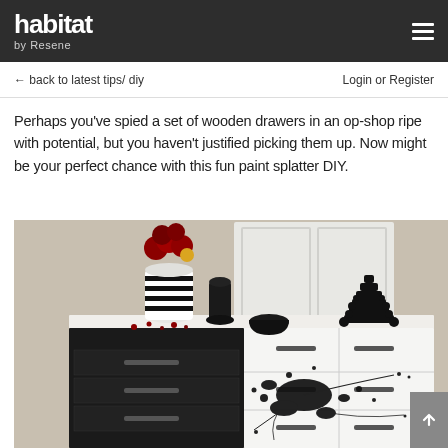habitat by Resene
← back to latest tips/ diy
Login or Register
Perhaps you've spied a set of wooden drawers in an op-shop ripe with potential, but you haven't justified picking them up. Now might be your perfect chance with this fun paint splatter DIY.
[Figure (photo): A dresser/chest of drawers painted half black and half white with a paint splatter design on the white side, styled with a striped vase of red flowers, black candle holders and decorative objects on top.]